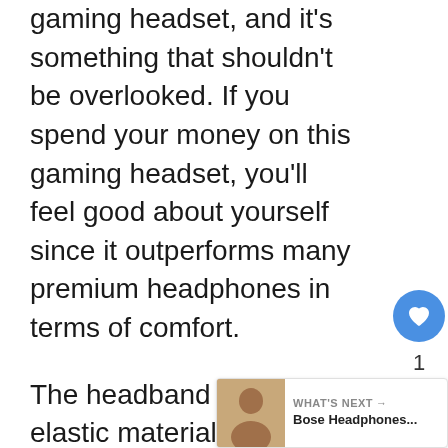gaming headset, and it's something that shouldn't be overlooked. If you spend your money on this gaming headset, you'll feel good about yourself since it outperforms many premium headphones in terms of comfort.
The headband is made of elastic material and can be adjusted to fit your head. The grip is kept in place with the Velcro straps. When you're engaged in a hardcore session of gaming, the headphones stay put on your dome.
The Arctis 5 is the company's first SteelSeries headset with cushioned breathable ear cups, making it a suitable gaming headset for budget customers even
[Figure (other): Heart/like button (blue circle with white heart icon), count of 1, and share button (white circle with share icon) overlaid on the right side of the article.]
[Figure (other): What's Next banner showing a thumbnail image of a person and the text 'WHAT'S NEXT → Bose Headphones...']